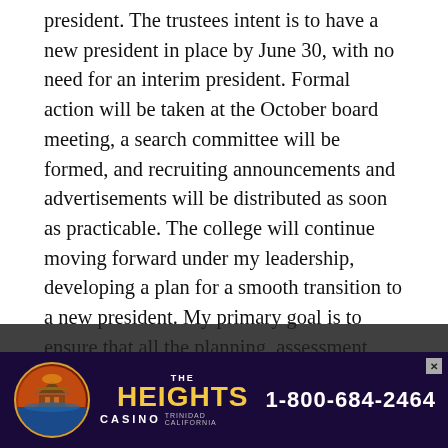president. The trustees intent is to have a new president in place by June 30, with no need for an interim president. Formal action will be taken at the October board meeting, a search committee will be formed, and recruiting announcements and advertisements will be distributed as soon as practicable. The college will continue moving forward under my leadership, developing a plan for a smooth transition to a new president. My primary goal is to ensure that all the planning, assessment, program review and budgeting processes that CR has established over the last few years will be retained and continue to improve in future years.
When I first arrived at CR, I was puzzled and even a bit offended when I heard that many of you were
[Figure (other): The Heights Casino advertisement banner. Shows The Heights Casino logo (circular image of a building at sunset), text 'THE HEIGHTS' in large yellow letters, 'CASINO CALIFORNIA' below, and phone number '1-800-684-2464' on a dark purple background. An X close button appears in the top right.]